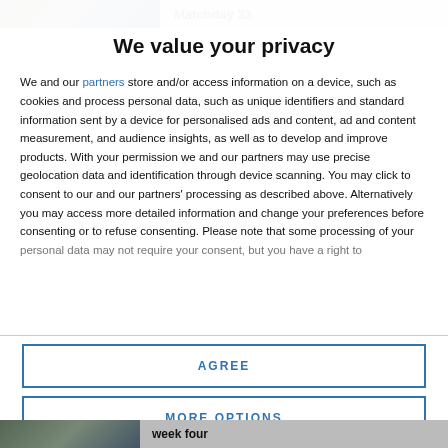Matchday 33
We value your privacy
We and our partners store and/or access information on a device, such as cookies and process personal data, such as unique identifiers and standard information sent by a device for personalised ads and content, ad and content measurement, and audience insights, as well as to develop and improve products. With your permission we and our partners may use precise geolocation data and identification through device scanning. You may click to consent to our and our partners' processing as described above. Alternatively you may access more detailed information and change your preferences before consenting or to refuse consenting. Please note that some processing of your personal data may not require your consent, but you have a right to
AGREE
MORE OPTIONS
week four